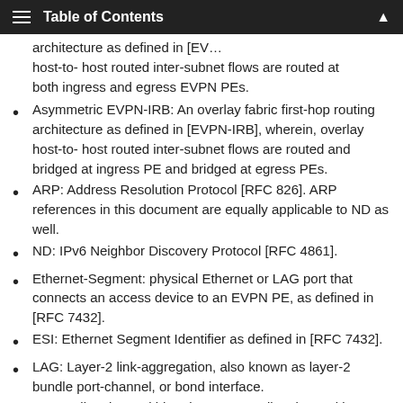Table of Contents
architecture as defined in [EVPN-IRB], wherein, overlay host-to-host routed inter-subnet flows are routed at both ingress and egress EVPN PEs.
Asymmetric EVPN-IRB: An overlay fabric first-hop routing architecture as defined in [EVPN-IRB], wherein, overlay host-to-host routed inter-subnet flows are routed and bridged at ingress PE and bridged at egress PEs.
ARP: Address Resolution Protocol [RFC 826]. ARP references in this document are equally applicable to ND as well.
ND: IPv6 Neighbor Discovery Protocol [RFC 4861].
Ethernet-Segment: physical Ethernet or LAG port that connects an access device to an EVPN PE, as defined in [RFC 7432].
ESI: Ethernet Segment Identifier as defined in [RFC 7432].
LAG: Layer-2 link-aggregation, also known as layer-2 bundle port-channel, or bond interface.
EVPN all-active multi-homing: PE-CE all-active multi-